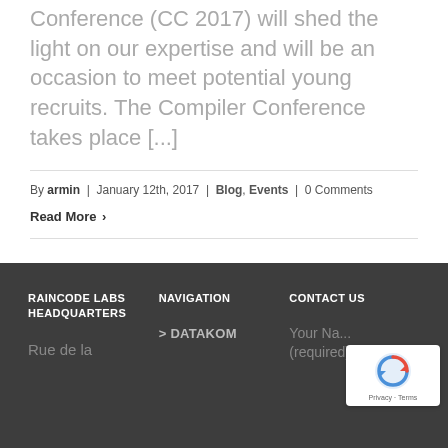Conference (CC 2017) will shed the light on our expertise and will be an occasion to meet potential young recruits. The Compiler Conference takes place [...]
By armin | January 12th, 2017 | Blog, Events | 0 Comments
Read More ›
RAINCODE LABS HEADQUARTERS
NAVIGATION
CONTACT US
> DATAKOM
Rue de la
Your Na... (required)